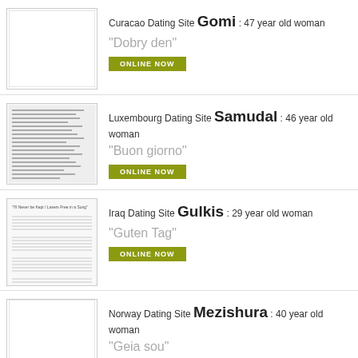[Figure (other): Blank white thumbnail image placeholder]
Curacao Dating Site Gomi : 47 year old woman
"Dobry den"
ONLINE NOW
[Figure (other): Thumbnail showing dense text/document content]
Luxembourg Dating Site Samudal : 46 year old woman
"Buon giorno"
ONLINE NOW
[Figure (other): Thumbnail showing music sheet notation]
Iraq Dating Site Gulkis : 29 year old woman
"Guten Tag"
ONLINE NOW
[Figure (other): Blank white thumbnail image placeholder]
Norway Dating Site Mezishura : 40 year old woman
"Geia sou"